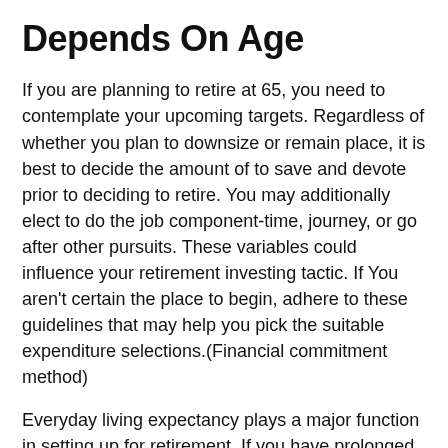Depends On Age
If you are planning to retire at 65, you need to contemplate your upcoming targets. Regardless of whether you plan to downsize or remain place, it is best to decide the amount of to save and devote prior to deciding to retire. You may additionally elect to do the job component-time, journey, or go after other pursuits. These variables could influence your retirement investing tactic. If You aren't certain the place to begin, adhere to these guidelines that may help you pick the suitable expenditure selections.(Financial commitment method)
Everyday living expectancy plays a major function in setting up for retirement. If you have prolonged lifestyle, it is possible to retire at age 62, but should you be in weak wellbeing, you may have to faucet into your savings much earlier. For a similar motive, you should take into account Placing cash into a real estate property financial investment